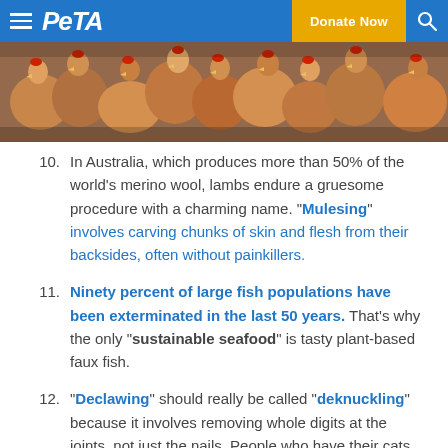PETA — Donate Now
[Figure (photo): Crowded chickens/hens in a factory farm setting, photographed closely together]
10. In Australia, which produces more than 50% of the world's merino wool, lambs endure a gruesome procedure with a charming name. "Mulesing" involves carving chunks of skin and flesh from their backsides, often without painkillers.
11. Ninety percent of large fish populations have been exterminated in the last 50 years. That's why the only "sustainable seafood" is tasty plant-based faux fish.
12. "Declawing" should really be called "deknuckling" because it involves removing whole digits at the joints, not just the nails. People who have their cats "deknuckled" and veterinarians who do it for them